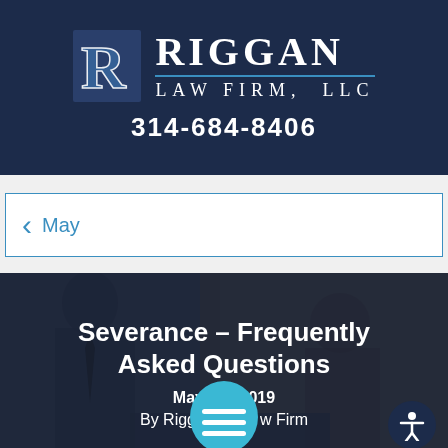[Figure (logo): Riggan Law Firm LLC logo with stylized R lettermark and firm name, phone number 314-684-8406 on dark navy background]
May
[Figure (photo): Photo of business professionals in suits at a meeting table, overlaid with article title 'Severance – Frequently Asked Questions', date May 15, 2019, and byline By Riggan Law Firm]